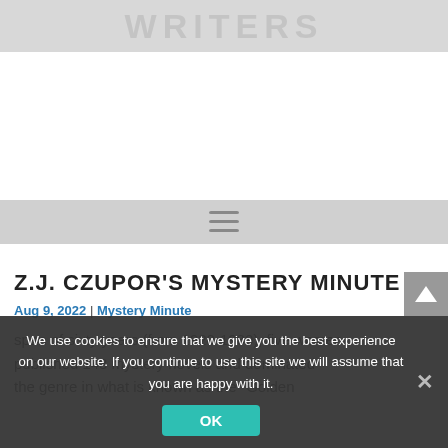WRITERS
[Figure (other): White advertisement/placeholder area]
[Figure (other): Navigation bar with hamburger menu icon]
Z.J. CZUPOR'S MYSTERY MINUTE
Aug 9, 2022 | Mystery Minute
span of sixty years (from 1920-1980), five women published 143 mystery novels and dominated the genre in what is known as the "Golden
We use cookies to ensure that we give you the best experience on our website. If you continue to use this site we will assume that you are happy with it.